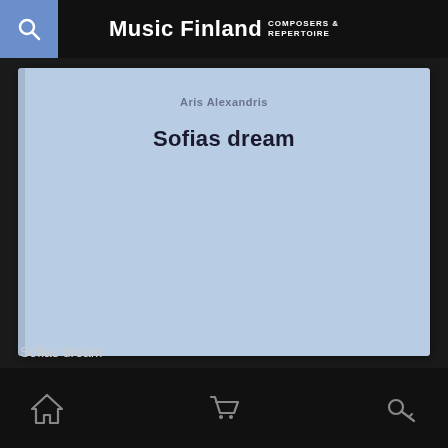Music Finland COMPOSERS & REPERTOIRE
[Figure (illustration): Album cover with light blue background showing 'Sofias dream' text in bold dark font, resembling a book or album cover with a spine on the left side]
Sofias dream